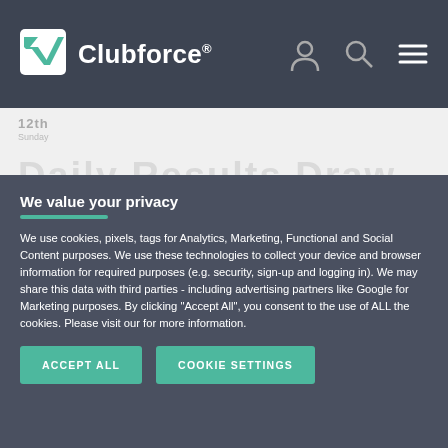Clubforce®
We value your privacy
We use cookies, pixels, tags for Analytics, Marketing, Functional and Social Content purposes. We use these technologies to collect your device and browser information for required purposes (e.g. security, sign-up and logging in). We may share this data with third parties - including advertising partners like Google for Marketing purposes. By clicking "Accept All", you consent to the use of ALL the cookies. Please visit our for more information.
ACCEPT ALL
COOKIE SETTINGS